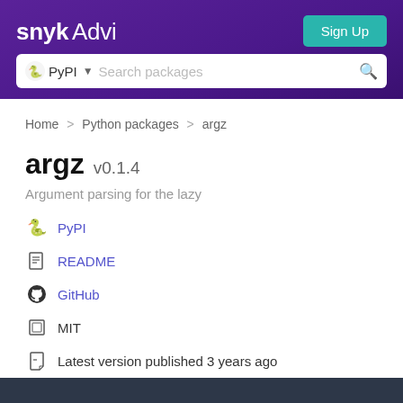snyk Advisor — Sign Up | PyPI Search packages
Home > Python packages > argz
argz v0.1.4
Argument parsing for the lazy
PyPI
README
GitHub
MIT
Latest version published 3 years ago